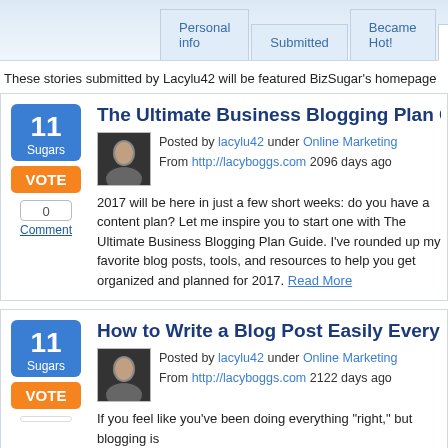Personal info | Submitted | Became Hot! | Upcoming | Co...
These stories submitted by Lacylu42 will be featured BizSugar's homepage
The Ultimate Business Blogging Plan Guide
Posted by lacylu42 under Online Marketing
From http://lacyboggs.com 2096 days ago
2017 will be here in just a few short weeks: do you have a content plan? Let me inspire you to start one with The Ultimate Business Blogging Plan Guide. I've rounded up my favorite blog posts, tools, and resources to help you get organized and planned for 2017. Read More
How to Write a Blog Post Easily Every Tim
Posted by lacylu42 under Online Marketing
From http://lacyboggs.com 2122 days ago
If you feel like you've been doing everything "right," but blogging is